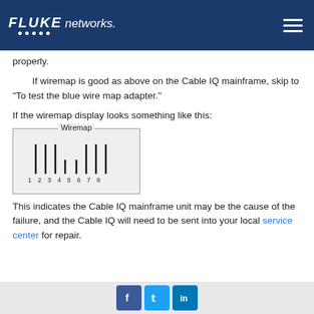Fluke Networks
properly.
If wiremap is good as above on the Cable IQ mainframe, skip to “To test the blue wire map adapter.”
If the wiremap display looks something like this:
[Figure (schematic): Wiremap display showing 8 vertical bars labeled 1 through 8 with varying heights suggesting wire discontinuities]
This indicates the Cable IQ mainframe unit may be the cause of the failure, and the Cable IQ will need to be sent into your local service center for repair.
Social media links: Facebook, Twitter, LinkedIn